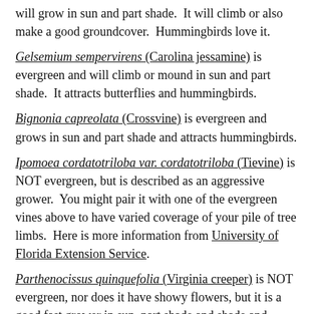will grow in sun and part shade.  It will climb or also make a good groundcover.  Hummingbirds love it.
Gelsemium sempervirens (Carolina jessamine) is evergreen and will climb or mound in sun and part shade.  It attracts butterflies and hummingbirds.
Bignonia capreolata (Crossvine) is evergreen and grows in sun and part shade and attracts hummingbirds.
Ipomoea cordatotriloba var. cordatotriloba (Tievine) is NOT evergreen, but is described as an aggressive grower.  You might pair it with one of the evergreen vines above to have varied coverage of your pile of tree limbs.  Here is more information from University of Florida Extension Service.
Parthenocissus quinquefolia (Virginia creeper) is NOT evergreen, nor does it have showy flowers, but it is a good fast grower in sun, part shade and shade and would make a good cover over your pile of tree limbs.
Clematis drummondii (Drummond's clematis) is NOT